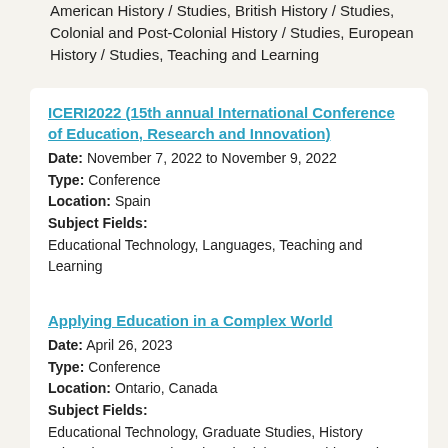American History / Studies, British History / Studies, Colonial and Post-Colonial History / Studies, European History / Studies, Teaching and Learning
ICERI2022 (15th annual International Conference of Education, Research and Innovation)
Date: November 7, 2022 to November 9, 2022
Type: Conference
Location: Spain
Subject Fields:
Educational Technology, Languages, Teaching and Learning
Applying Education in a Complex World
Date: April 26, 2023
Type: Conference
Location: Ontario, Canada
Subject Fields:
Educational Technology, Graduate Studies, History Education, Research and Methodology, Teaching and Learning